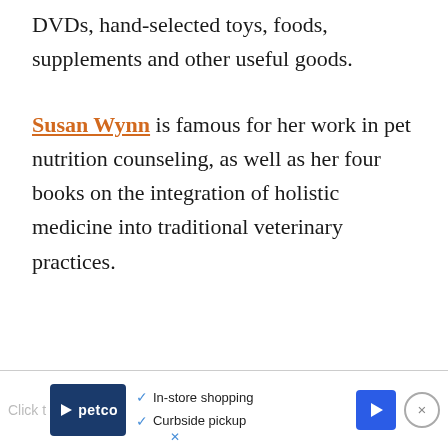DVDs, hand-selected toys, foods, supplements and other useful goods.
Susan Wynn is famous for her work in pet nutrition counseling, as well as her four books on the integration of holistic medicine into traditional veterinary practices.
[Figure (screenshot): Petco advertisement banner showing in-store shopping and curbside pickup availability, with Petco logo, navigation arrow icon, and close button]